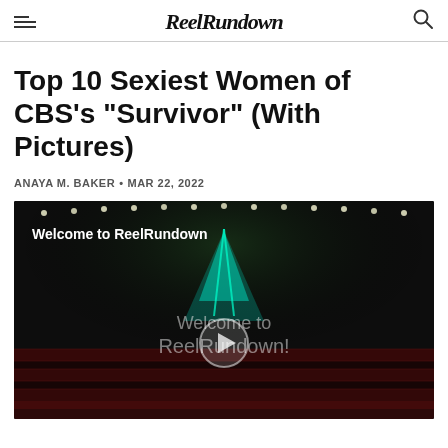ReelRundown
Top 10 Sexiest Women of CBS's "Survivor" (With Pictures)
ANAYA M. BAKER • MAR 22, 2022
[Figure (screenshot): Video thumbnail showing a dark stage with spotlights, a play button in the center, and text 'Welcome to ReelRundown' at the top and 'Welcome to ReelRundown!' overlaid in the center.]